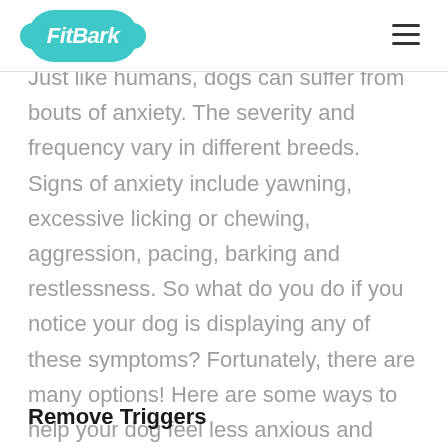FitBark
Just like humans, dogs can suffer from bouts of anxiety. The severity and frequency vary in different breeds. Signs of anxiety include yawning, excessive licking or chewing, aggression, pacing, barking and restlessness. So what do you do if you notice your dog is displaying any of these symptoms? Fortunately, there are many options! Here are some ways to help your dog feel less anxious and stressed.
Remove Triggers